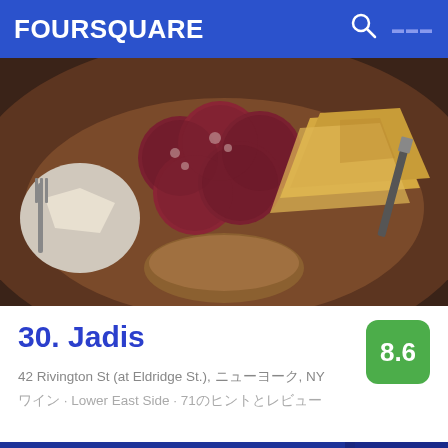FOURSQUARE
[Figure (photo): Close-up photo of charcuterie board with sliced salami/cured meats and cheese wedges on a wooden board]
30. Jadis
42 Rivington St (at Eldridge St.), ニューヨーク, NY
ワイン · Lower East Side · 71のヒントとレビュー
[Figure (photo): Exterior photo of Piazon Pisco restaurant with blue storefront, number 139, glowing neon yellow sign reading Piazon Pisco, and wood-paneled interior visible through windows]